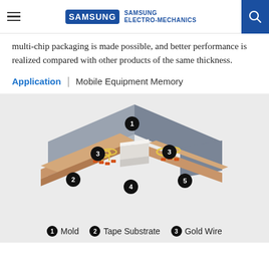Samsung Electro-Mechanics
multi-chip packaging is made possible, and better performance is realized compared with other products of the same thickness.
Application | Mobile Equipment Memory
[Figure (engineering-diagram): Isometric cutaway diagram of a multi-chip package showing: 1) Mold (gray top layer), 2) Tape Substrate (orange/copper base), 3) Gold Wire (yellow wire bonds on left), 4) central connection region (white/gray bridge), 5) Gold Wire (yellow wire bonds on right). Numbered black circles label each component.]
1 Mold  2 Tape Substrate  3 Gold Wire